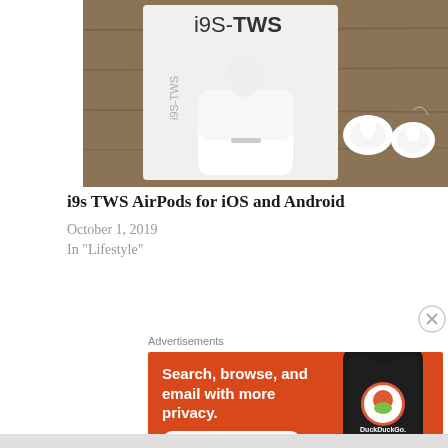[Figure (photo): Photo of i9S-TWS earbuds product — white wireless earbuds and charging case next to a white product box labeled 'i9S-TWS', on a wooden surface]
i9s TWS AirPods for iOS and Android
October 1, 2019
In "Lifestyle"
Advertisements
[Figure (screenshot): DuckDuckGo advertisement banner with orange background. Text: 'Search, browse, and email with more privacy. All in One Free App'. Shows a smartphone with DuckDuckGo logo and wordmark.]